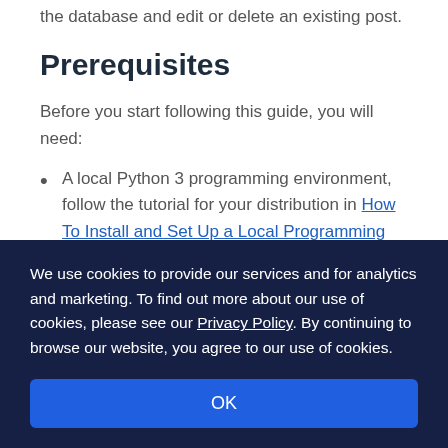the database and edit or delete an existing post.
Prerequisites
Before you start following this guide, you will need:
A local Python 3 programming environment, follow the tutorial for your distribution in How To Install and Set Up a Local Programming Environment for Python 3 series for your local
We use cookies to provide our services and for analytics and marketing. To find out more about our use of cookies, please see our Privacy Policy. By continuing to browse our website, you agree to our use of cookies.
OK